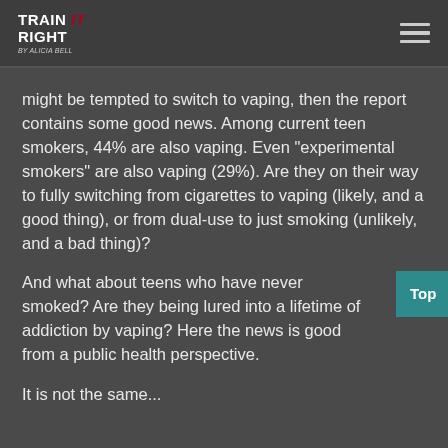Train It Right by Alicia Bell
might be tempted to switch to vaping, then the report contains some good news. Among current teen smokers, 44% are also vaping. Even "experimental smokers" are also vaping (29%). Are they on their way to fully switching from cigarettes to vaping (likely, and a good thing), or from dual-use to just smoking (unlikely, and a bad thing)?
And what about teens who have never smoked? Are they being lured into a lifetime of addiction by vaping? Here the news is good from a public health perspective.
It is not the same...